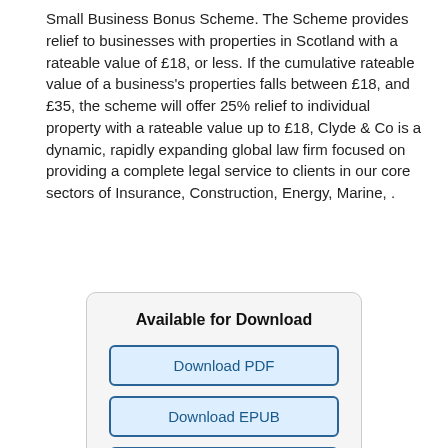Small Business Bonus Scheme. The Scheme provides relief to businesses with properties in Scotland with a rateable value of £18, or less. If the cumulative rateable value of a business's properties falls between £18, and £35, the scheme will offer 25% relief to individual property with a rateable value up to £18, Clyde & Co is a dynamic, rapidly expanding global law firm focused on providing a complete legal service to clients in our core sectors of Insurance, Construction, Energy, Marine, .
Available for Download
Download PDF
Download EPUB
Download FB2
Download MOBI
Download TXT